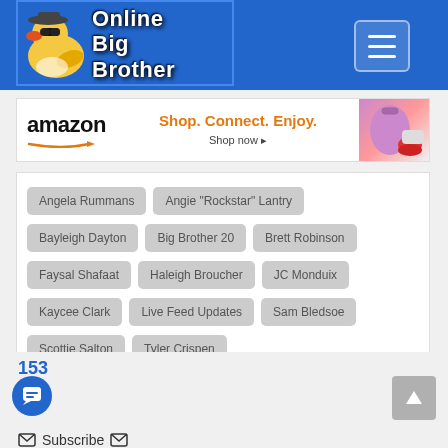Online Big Brother
[Figure (screenshot): Amazon advertisement banner: 'Shop. Connect. Enjoy. Shop now']
Angela Rummans
Angie "Rockstar" Lantry
Bayleigh Dayton
Big Brother 20
Brett Robinson
Faysal Shafaat
Haleigh Broucher
JC Monduix
Kaycee Clark
Live Feed Updates
Sam Bledsoe
Scottie Salton
Tyler Crispen
153
Subscribe